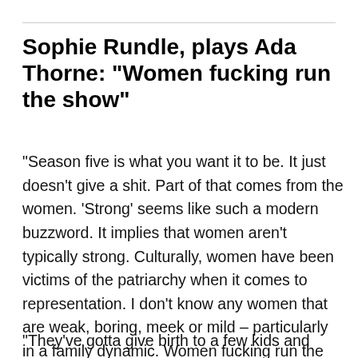Sophie Rundle, plays Ada Thorne: “Women fucking run the show”
“Season five is what you want it to be. It just doesn’t give a shit. Part of that comes from the women. ‘Strong’ seems like such a modern buzzword. It implies that women aren’t typically strong. Culturally, women have been victims of the patriarchy when it comes to representation. I don’t know any women that are weak, boring, meek or mild – particularly in a family dynamic. Women fucking run the show.
“They’ve gotta give birth to a few kids and then go to work. They’re fucking strong, all of them are. The